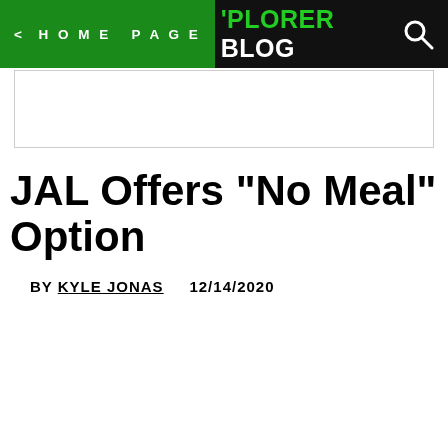< HOME PAGE  'PLORER BLOG
[Figure (other): Advertisement banner placeholder]
JAL Offers "No Meal" Option
BY KYLE JONAS    12/14/2020